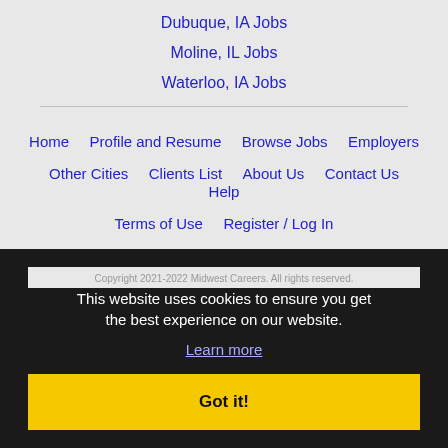Dubuque, IA Jobs
Moline, IL Jobs
Waterloo, IA Jobs
Home  Profile and Resume  Browse Jobs  Employers  Other Cities  Clients List  About Us  Contact Us  Help  Terms of Use  Register / Log In
Copyright 2021-2022 Midwest Careers. All rights reserved.
This website uses cookies to ensure you get the best experience on our website.
Learn more
Got it!